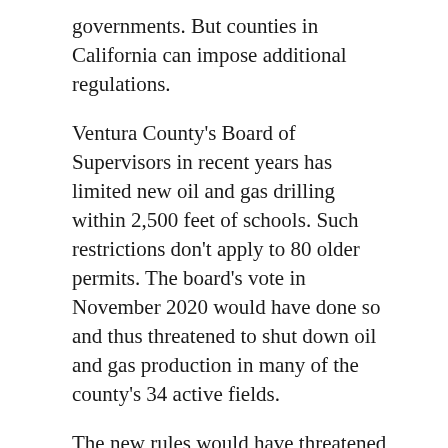governments. But counties in California can impose additional regulations.
Ventura County's Board of Supervisors in recent years has limited new oil and gas drilling within 2,500 feet of schools. Such restrictions don't apply to 80 older permits. The board's vote in November 2020 would have done so and thus threatened to shut down oil and gas production in many of the county's 34 active fields.
The new rules would have threatened 2,000 or so workers whose jobs depend on the oil and gas industry. They also could have cost mineral rights owners up to $50 million in royalty and leasing payments, and local schools and public safety tens of millions of dollars in tax revenue. But